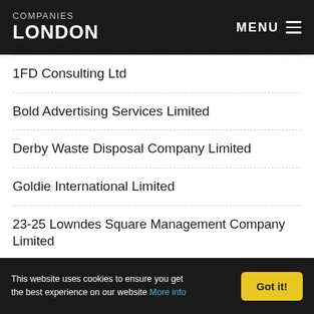COMPANIES LONDON | MENU
1FD Consulting Ltd
Bold Advertising Services Limited
Derby Waste Disposal Company Limited
Goldie International Limited
23-25 Lowndes Square Management Company Limited
Goodfigure Limited
This website uses cookies to ensure you get the best experience on our website More info  Got it!